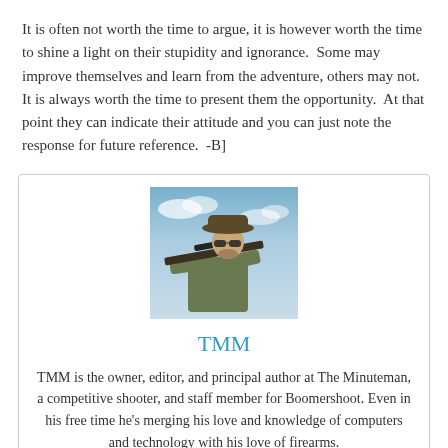It is often not worth the time to argue, it is however worth the time to shine a light on their stupidity and ignorance.  Some may improve themselves and learn from the adventure, others may not.  It is always worth the time to present them the opportunity.  At that point they can indicate their attitude and you can just note the response for future reference.  -B]
[Figure (photo): A man wearing a wide-brim hat and sunglasses aiming a rifle with scope, against a blue sky background.]
TMM
TMM is the owner, editor, and principal author at The Minuteman, a competitive shooter, and staff member for Boomershoot. Even in his free time he's merging his love and knowledge of computers and technology with his love of firearms.